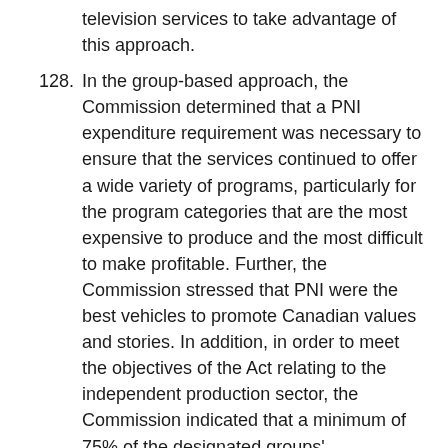television services to take advantage of this approach.
128. In the group-based approach, the Commission determined that a PNI expenditure requirement was necessary to ensure that the services continued to offer a wide variety of programs, particularly for the program categories that are the most expensive to produce and the most difficult to make profitable. Further, the Commission stressed that PNI were the best vehicles to promote Canadian values and stories. In addition, in order to meet the objectives of the Act relating to the independent production sector, the Commission indicated that a minimum of 75% of the designated groups' expenditures for the production of PNI should be devoted to programs produced by independent production companies.
129. In light of the costs incurred by the imposed requirements, the Commission allowed the large French-language groups at the time of their last licence renewals to it did for the English-language